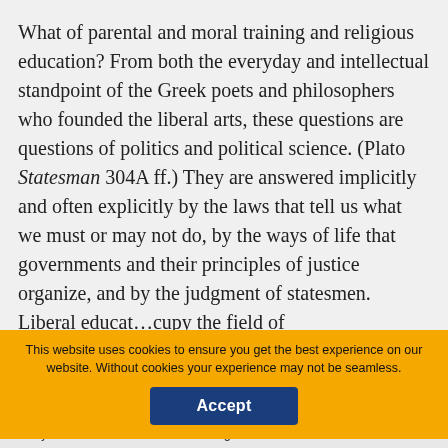What of parental and moral training and religious education? From both the everyday and intellectual standpoint of the Greek poets and philosophers who founded the liberal arts, these questions are questions of politics and political science. (Plato Statesman 304A ff.) They are answered implicitly and often explicitly by the laws that tell us what we must or may not do, by the ways of life that governments and their principles of justice organize, and by the judgment of statesmen. Liberal educat…cupy the field of
collapse
You are not currently authenticated. If you would like to authenticate using a different subscribed institution or
This website uses cookies to ensure you get the best experience on our website. Without cookies your experience may not be seamless.
Accept